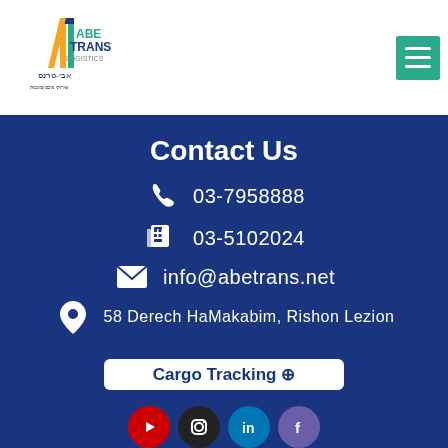[Figure (logo): ABE Trans Logistics company logo with Hebrew text]
[Figure (other): Green hamburger menu icon in top right corner]
[Figure (other): Wheelchair accessibility icon]
Contact Us
03-7958888
03-5102024
info@abetrans.net
58 Derech HaMakabim, Rishon Lezion
Cargo Tracking →
[Figure (other): Social media icons: YouTube, Instagram, LinkedIn, Facebook]